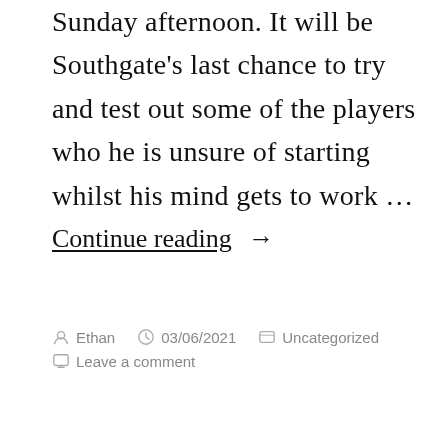Sunday afternoon. It will be Southgate's last chance to try and test out some of the players who he is unsure of starting whilst his mind gets to work …
Continue reading →
Posted by Ethan  03/06/2021  Uncategorized  Leave a comment